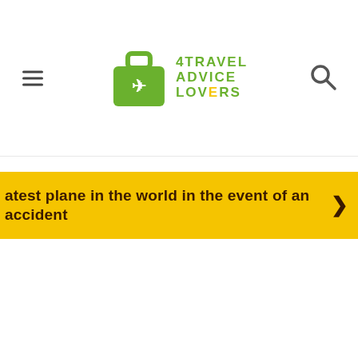[Figure (logo): 4Travel Advice Lovers logo with green suitcase icon and hamburger menu on left, search icon on right]
atest plane in the world in the event of an accident ❯